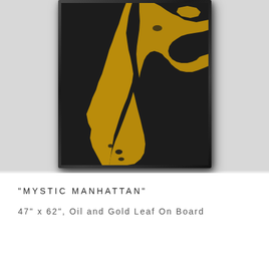[Figure (illustration): Framed artwork titled 'Mystic Manhattan' showing a stylized map of Manhattan island rendered in gold leaf against a dark black textured background. The waterways and surrounding geography appear as golden brushstrokes on black. The piece is shown in a black frame.]
"MYSTIC MANHATTAN"
47" x 62", Oil and Gold Leaf On Board